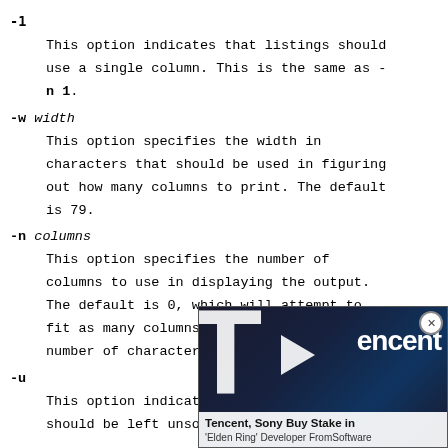-1
    This option indicates that listings should use a single column. This is the same as -n 1.
-w width
    This option specifies the width in characters that should be used in figuring out how many columns to print. The default is 79.
-n columns
    This option specifies the number of columns to use in displaying the output. The default is 0, which will attempt to fit as many columns o[n the screen, given the] number of character s[pacing...]
-u
    This option indicates [that the output] should be left unsort[ed...]
[Figure (photo): Advertisement overlay showing Tencent logo with large white T letter, play button, brand name 'Tencent', and caption 'Tencent, Sony Buy Stake in Elden Ring Developer FromSoftware']